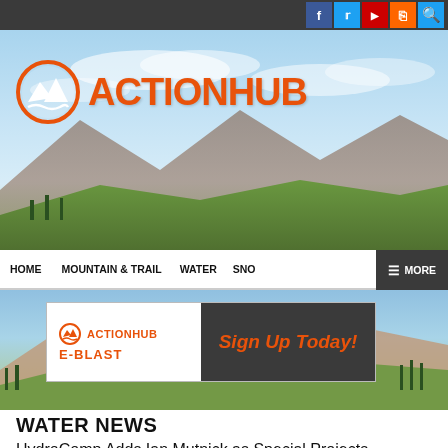[Figure (screenshot): ActionHub website header with social media icons (Facebook, Twitter, YouTube, RSS) and search icon on dark top bar]
[Figure (photo): Mountain landscape background with sky, mountains, and green meadows — ActionHub logo (orange mountain/wave circle icon and ACTIONHUB text in orange) displayed on top]
HOME  MOUNTAIN & TRAIL  WATER  SNOW  MORE
[Figure (other): Mountain landscape background with ActionHub E-BLAST advertisement banner — Sign Up Today! in orange italic text on dark background]
WATER NEWS
HydroComp Adds Ian Mutnick as Special Projects Consultant
By: ActionHub Reporters - Posted: April 4, 2012